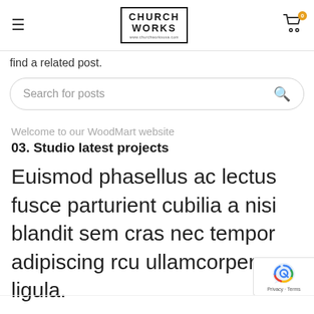CHURCH WORKS
find a related post.
Search for posts
Welcome to our WoodMart website
03. Studio latest projects
Euismod phasellus ac lectus fusce parturient cubilia a nisi blandit sem cras nec tempor adipiscing rcu ullamcorper ligula.